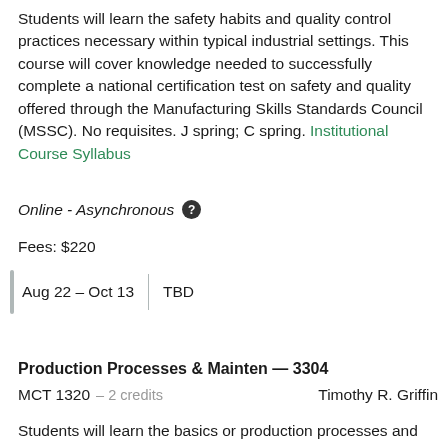Students will learn the safety habits and quality control practices necessary within typical industrial settings. This course will cover knowledge needed to successfully complete a national certification test on safety and quality offered through the Manufacturing Skills Standards Council (MSSC). No requisites. J spring; C spring. Institutional Course Syllabus
Online - Asynchronous ?
Fees: $220
Aug 22 – Oct 13 | TBD
Production Processes & Mainten — 3304
MCT 1320 – 2 credits    Timothy R. Griffin
Students will learn the basics or production processes and